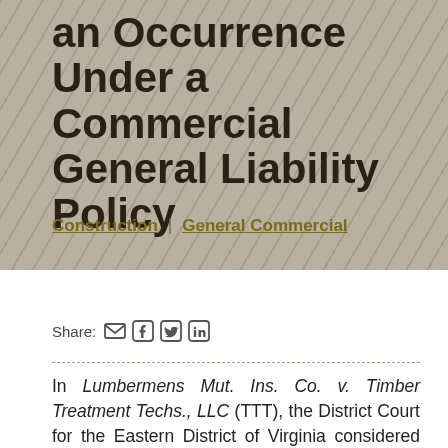an Occurrence Under a Commercial General Liability Policy
Construction | General Commercial
Share:
In Lumbermens Mut. Ins. Co. v. Timber Treatment Techs., LLC (TTT), the District Court for the Eastern District of Virginia considered whether the allegations constituted an